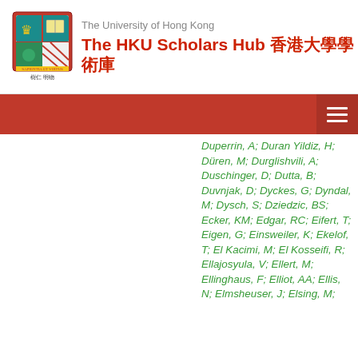The University of Hong Kong — The HKU Scholars Hub 香港大學學術庫
Duperrin, A; Duran Yildiz, H; Düren, M; Durglishvili, A; Duschinger, D; Dutta, B; Duvnjak, D; Dyckes, G; Dyndal, M; Dysch, S; Dziedzic, BS; Ecker, KM; Edgar, RC; Eifert, T; Eigen, G; Einsweiler, K; Ekelof, T; El Kacimi, M; El Kosseifi, R; Ellajosyula, V; Ellert, M; Ellinghaus, F; Elliot, AA; Ellis, N; Elmsheuser, J; Elsing, M;